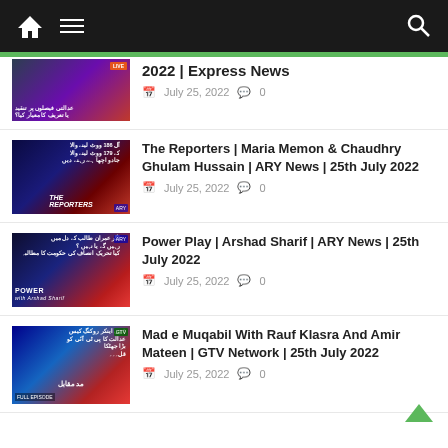Navigation bar with home, menu, and search icons
2022 | Express News — July 25, 2022 — 0 comments
The Reporters | Maria Memon & Chaudhry Ghulam Hussain | ARY News | 25th July 2022 — July 25, 2022 — 0 comments
Power Play | Arshad Sharif | ARY News | 25th July 2022 — July 25, 2022 — 0 comments
Mad e Muqabil With Rauf Klasra And Amir Mateen | GTV Network | 25th July 2022 — July 25, 2022 — 0 comments